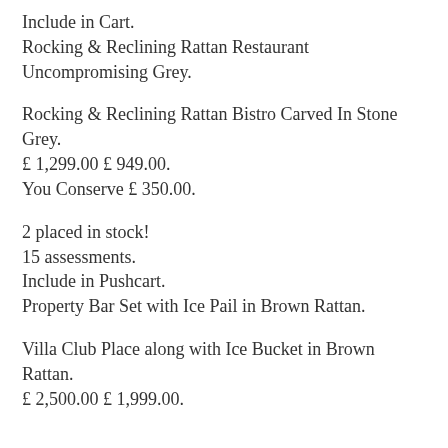Include in Cart.
Rocking & Reclining Rattan Restaurant Uncompromising Grey.
Rocking & Reclining Rattan Bistro Carved In Stone Grey.
£ 1,299.00 £ 949.00.
You Conserve £ 350.00.
2 placed in stock!
15 assessments.
Include in Pushcart.
Property Bar Set with Ice Pail in Brown Rattan.
Villa Club Place along with Ice Bucket in Brown Rattan.
£ 2,500.00 £ 1,999.00.
You Save £ 501.00